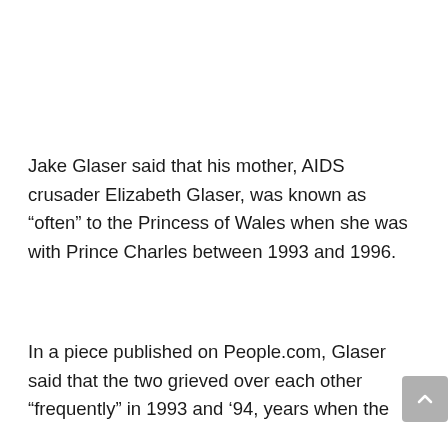Jake Glaser said that his mother, AIDS crusader Elizabeth Glaser, was known as “often” to the Princess of Wales when she was with Prince Charles between 1993 and 1996.
In a piece published on People.com, Glaser said that the two grieved over each other “frequently” in 1993 and ’94, years when the [then 32-year-old Diana and Glaser...]